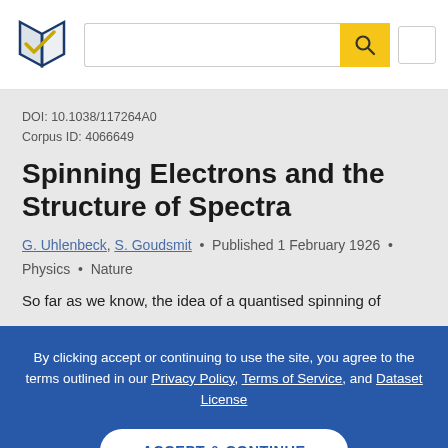Semantic Scholar search bar with logo
DOI: 10.1038/117264A0
Corpus ID: 4066649
Spinning Electrons and the Structure of Spectra
G. Uhlenbeck, S. Goudsmit • Published 1 February 1926 • Physics • Nature
So far as we know, the idea of a quantised spinning of
By clicking accept or continuing to use the site, you agree to the terms outlined in our Privacy Policy, Terms of Service, and Dataset License
ACCEPT & CONTINUE